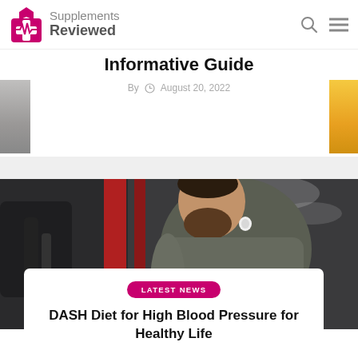Supplements Reviewed
Informative Guide
By  August 20, 2022
[Figure (photo): Man with earbuds working out at the gym, profile view]
LATEST NEWS
DASH Diet for High Blood Pressure for Healthy Life